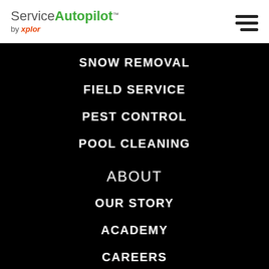[Figure (logo): Service Autopilot by xplor logo with hamburger menu icon]
SNOW REMOVAL
FIELD SERVICE
PEST CONTROL
POOL CLEANING
ABOUT
OUR STORY
ACADEMY
CAREERS